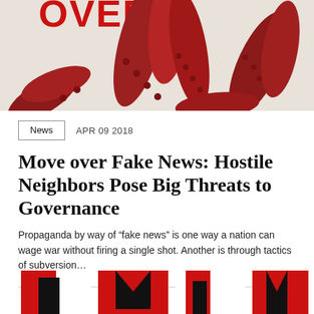[Figure (photo): Close-up of red octopus tentacles on a light background, with partial red bold text 'GOVERN...' visible at the top]
News   APR 09 2018
Move over Fake News: Hostile Neighbors Pose Big Threats to Governance
Propaganda by way of “fake news” is one way a nation can wage war without firing a single shot. Another is through tactics of subversion…
[Figure (photo): Partial view of a second article image showing stylized figures in black, red and white — appears to be a magazine cover design]